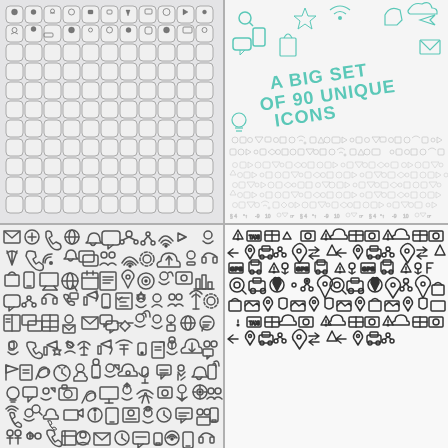[Figure (illustration): Grid of approximately 121 rounded square app-style icons with small pictograms (people, objects, communication symbols) on a light gray background, arranged in 11x11 grid]
[Figure (illustration): Hand-drawn sketch style artwork showing 'A BIG SET OF 90 UNIQUE ICONS' title text in teal/mint color with decorative doodle icons scattered around, plus rows of small sketch-style icons below]
[Figure (illustration): Grid of approximately 110 communication and technology icons (phone, wifi, globe, chat, email, people, etc.) in dark gray on white background]
[Figure (illustration): Grid of approximately 110 navigation and map icons (location pin, warning triangle, car, camera, arrows, etc.) in dark gray on white background, appearing as a repeated tile pattern]